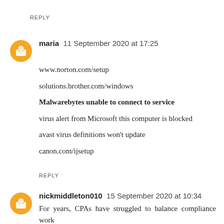REPLY
maria  11 September 2020 at 17:25
www.norton.com/setup

solutions.brother.com/windows

Malwarebytes unable to connect to service

virus alert from Microsoft this computer is blocked

avast virus definitions won't update

canon.com/ijsetup
REPLY
nickmiddleton010  15 September 2020 at 10:34
For years, CPAs have struggled to balance compliance work